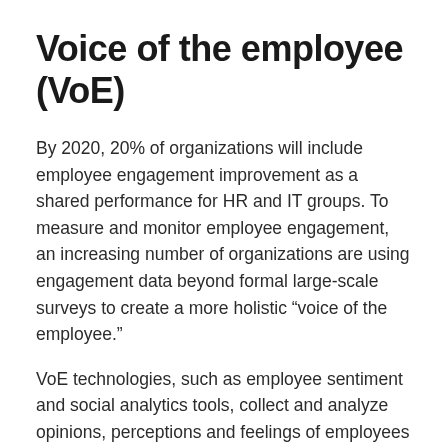Voice of the employee (VoE)
By 2020, 20% of organizations will include employee engagement improvement as a shared performance for HR and IT groups. To measure and monitor employee engagement, an increasing number of organizations are using engagement data beyond formal large-scale surveys to create a more holistic “voice of the employee.”
VoE technologies, such as employee sentiment and social analytics tools, collect and analyze opinions, perceptions and feelings of employees and workers, providing a way to harness multiple sources of information to understand the dynamics of the employee experience; they are not meant to enable